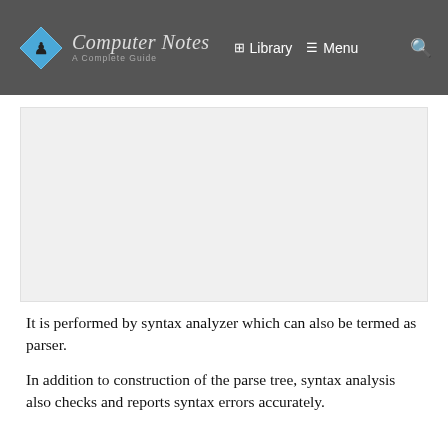Computer Notes A Complete Guide | Library | Menu
[Figure (other): Advertisement placeholder area (blank white/gray box)]
It is performed by syntax analyzer which can also be termed as parser.
In addition to construction of the parse tree, syntax analysis also checks and reports syntax errors accurately.